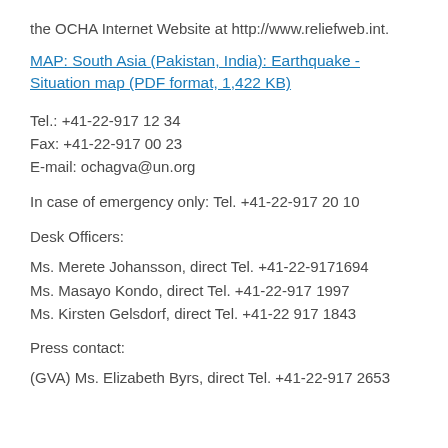the OCHA Internet Website at http://www.reliefweb.int.
MAP: South Asia (Pakistan, India): Earthquake - Situation map (PDF format, 1,422 KB)
Tel.: +41-22-917 12 34
Fax: +41-22-917 00 23
E-mail: ochagva@un.org
In case of emergency only: Tel. +41-22-917 20 10
Desk Officers:
Ms. Merete Johansson, direct Tel. +41-22-9171694
Ms. Masayo Kondo, direct Tel. +41-22-917 1997
Ms. Kirsten Gelsdorf, direct Tel. +41-22 917 1843
Press contact:
(GVA) Ms. Elizabeth Byrs, direct Tel. +41-22-917 2653